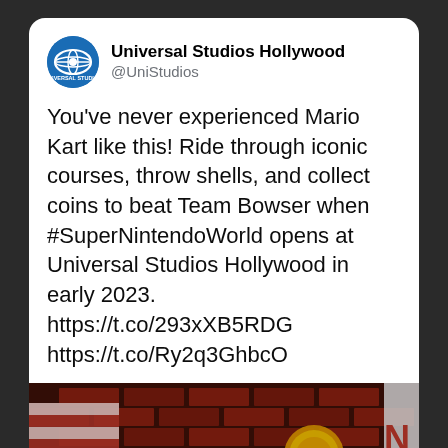Universal Studios Hollywood @UniStudios
You’ve never experienced Mario Kart like this! Ride through iconic courses, throw shells, and collect coins to beat Team Bowser when #SuperNintendoWorld opens at Universal Studios Hollywood in early 2023. https://t.co/293xXB5RDG https://t.co/Ry2q3GhbcO
[Figure (photo): Photo showing Mario Kart themed attraction elements at Universal Studios Hollywood, with colorful decorative elements and signage visible.]